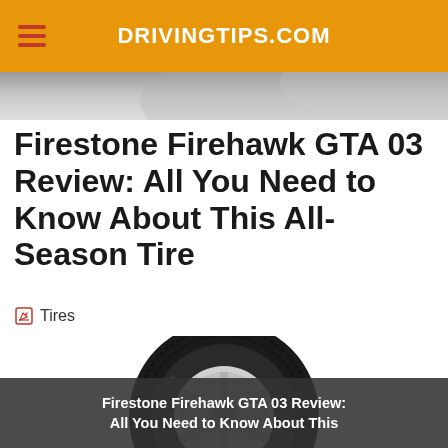DRIVINGTIPS.COM
[Figure (photo): Hero banner strip showing a blurred automotive background]
Firestone Firehawk GTA 03 Review: All You Need to Know About This All-Season Tire
Tires
[Figure (photo): Firestone Firehawk GTA 03 tire product photo showing the tire with white steel rim against white background]
Firestone Firehawk GTA 03 Review: All You Need to Know About This